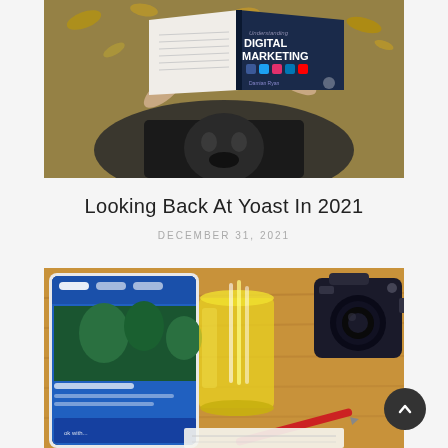[Figure (photo): Person lying on grass reading a book titled 'Understanding Digital Marketing' with social media icons on the cover]
Looking Back At Yoast In 2021
DECEMBER 31, 2021
[Figure (photo): Overhead view of a desk with a tablet showing a social media app, a yellow glass of water, a red pen, a camera, and notebook paper]